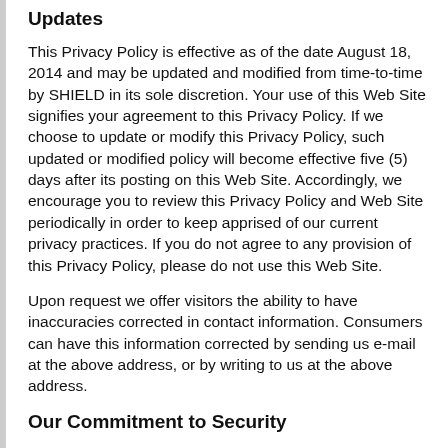Updates
This Privacy Policy is effective as of the date August 18, 2014 and may be updated and modified from time-to-time by SHIELD in its sole discretion. Your use of this Web Site signifies your agreement to this Privacy Policy. If we choose to update or modify this Privacy Policy, such updated or modified policy will become effective five (5) days after its posting on this Web Site. Accordingly, we encourage you to review this Privacy Policy and Web Site periodically in order to keep apprised of our current privacy practices. If you do not agree to any provision of this Privacy Policy, please do not use this Web Site.
Upon request we offer visitors the ability to have inaccuracies corrected in contact information. Consumers can have this information corrected by sending us e-mail at the above address, or by writing to us at the above address.
Our Commitment to Security
We have put in place appropriate physical, electronic, and managerial procedures to safeguard and help prevent unauthorized access